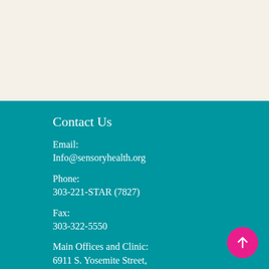Contact Us
Email:
Info@sensoryhealth.org
Phone:
303-221-STAR (7827)
Fax:
303-322-5550
Main Offices and Clinic:
6911 S. Yosemite Street,
Centennial,
Colorado 80112
[Figure (other): Pink circular button with white upward arrow icon]